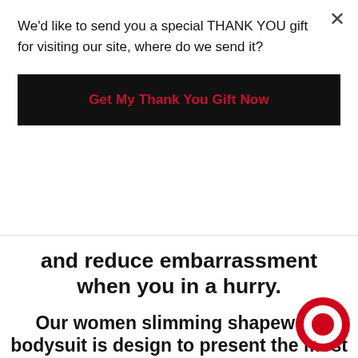We'd like to send you a special THANK YOU gift for visiting our site, where do we send it?
Get My Thank You Gift Now
and reduce embarrassment when you in a hurry.
Our women slimming shapewear bodysuit is design to present the most NATURAL and SMOOTH body curves you want. The unique stitching design on the back helps dis__se waist pressure, improve posture, r__ lumbar pain and protect the spine.
[Figure (illustration): Red circular chat/messenger icon in bottom right corner]